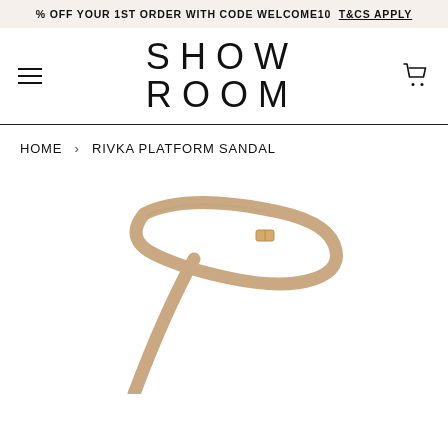% OFF YOUR 1ST ORDER WITH CODE WELCOME10 T&CS APPLY
SHOW
ROOM
HOME › RIVKA PLATFORM SANDAL
[Figure (photo): Close-up of a nude/tan platform sandal strap with a small gold buckle detail, against a white background. The ankle strap and a diagonal toe strap are visible.]